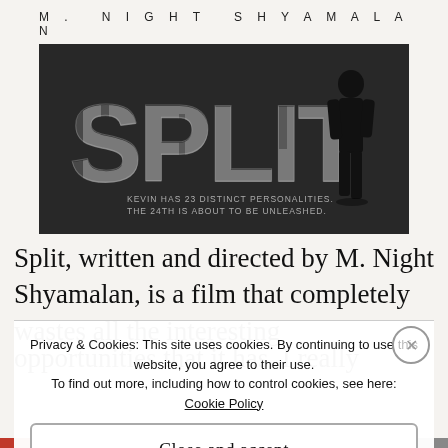[Figure (illustration): Movie poster for SPLIT directed by M. Night Shyamalan. Large distressed 'SPLIT' text in white/grey on dark background, with a figure of a man in black standing to the right. Tagline: 'KEVIN HAS 23 DISTINCT PERSONALITIES. THE 24TH IS ABOUT TO BE UNLEASHED.' Director credit 'M. NIGHT SHYAMALAN' above in spaced letters.]
Split, written and directed by M. Night Shyamalan, is a film that completely wastes all the interesting opportunities that it has. I really thought this might be...
Privacy & Cookies: This site uses cookies. By continuing to use this website, you agree to their use.
To find out more, including how to control cookies, see here:
Cookie Policy
Close and accept